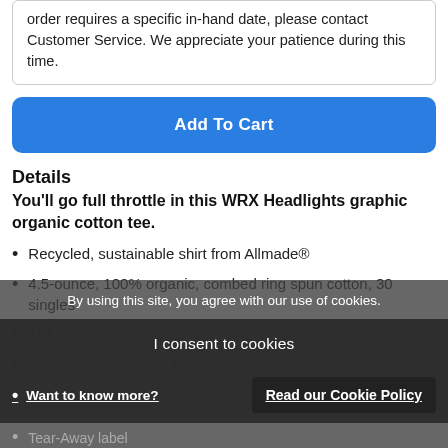order requires a specific in-hand date, please contact Customer Service. We appreciate your patience during this time.
Add To Cart
Details
You'll go full throttle in this WRX Headlights graphic organic cotton tee.
Recycled, sustainable shirt from Allmade®
4.5-ounce, 100% organic, combed ring spun cotton, 30 singles
1x1 rib-knit collar
Shoulder-to-shoulder tape
Want to know more?
Tear-Away label
By using this site, you agree with our use of cookies.
I consent to cookies
Read our Cookie Policy